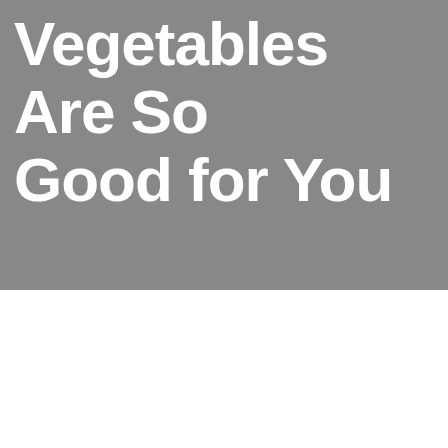Vegetables Are So Good for You
Why Fruits & Vegetables Are So Good for You